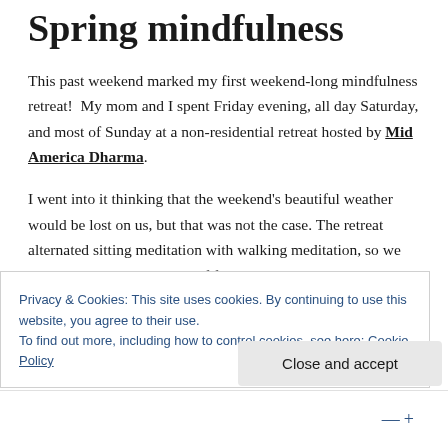Spring mindfulness
This past weekend marked my first weekend-long mindfulness retreat!  My mom and I spent Friday evening, all day Saturday, and most of Sunday at a non-residential retreat hosted by Mid America Dharma.
I went into it thinking that the weekend's beautiful weather would be lost on us, but that was not the case. The retreat alternated sitting meditation with walking meditation, so we were able to get quite a bit of fresh air while enjoying the just-opening daffodils, the sounds of
Privacy & Cookies: This site uses cookies. By continuing to use this website, you agree to their use.
To find out more, including how to control cookies, see here: Cookie Policy
Close and accept